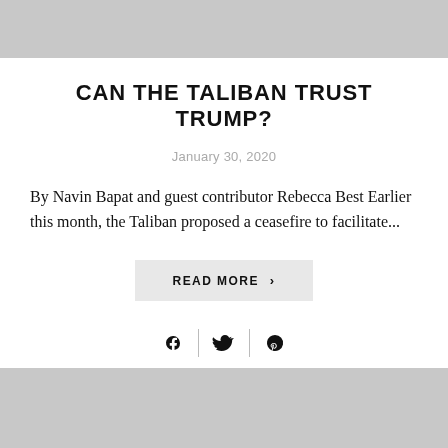[Figure (other): Gray banner image placeholder at top of page]
CAN THE TALIBAN TRUST TRUMP?
January 30, 2020
By Navin Bapat and guest contributor Rebecca Best Earlier this month, the Taliban proposed a ceasefire to facilitate...
READ MORE >
[Figure (other): Gray banner image placeholder at bottom of page]